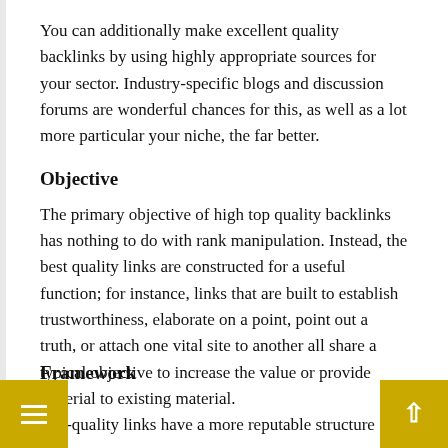You can additionally make excellent quality backlinks by using highly appropriate sources for your sector. Industry-specific blogs and discussion forums are wonderful chances for this, as well as a lot more particular your niche, the far better.
Objective
The primary objective of high top quality backlinks has nothing to do with rank manipulation. Instead, the best quality links are constructed for a useful function; for instance, links that are built to establish trustworthiness, elaborate on a point, point out a truth, or attach one vital site to another all share a typical objective to increase the value or provide material to existing material.
Framework
Top-quality links have a more reputable structure